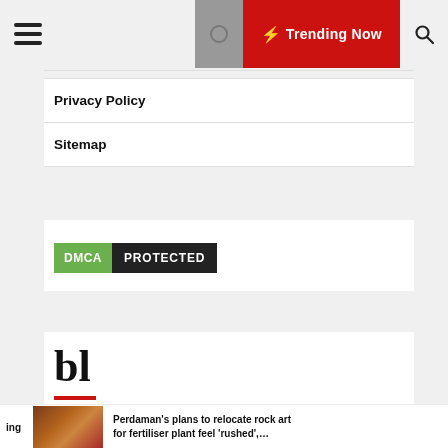Trending Now
Privacy Policy
Sitemap
[Figure (logo): DMCA PROTECTED badge with green DMCA label and black PROTECTED label]
bl
Perdaman's plans to relocate rock art for fertiliser plant feel 'rushed',...